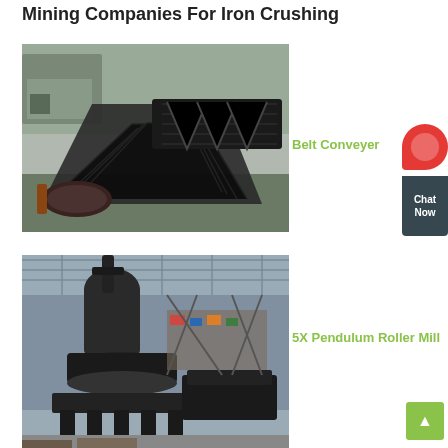Mining Companies For Iron Crushing
[Figure (photo): Industrial belt conveyer system showing large black rubber conveyor belts in a warehouse/factory setting with trucks visible in the background]
Belt Conveyer
[Figure (photo): Large industrial 5X Pendulum Roller Mill machine in a factory hall with high ceiling and structural supports visible]
5X Pendulum Roller Mill
[Figure (photo): Partial view of another industrial machine at the bottom of the page]